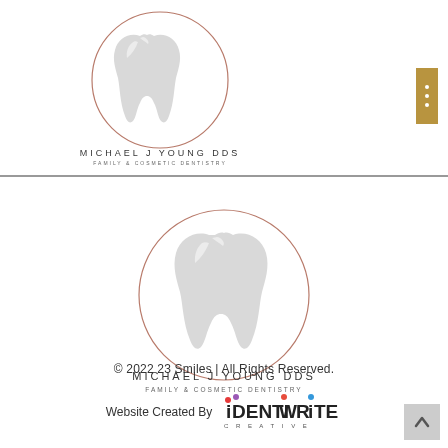[Figure (logo): Michael J Young DDS Family & Cosmetic Dentistry logo - tooth inside a rose-gold circle, small version in header]
[Figure (logo): Michael J Young DDS Family & Cosmetic Dentistry logo - tooth inside a rose-gold circle, large centered version]
© 2022 23 Smiles | All Rights Reserved.
Website Created By iDENTiWRiTE CREATIVE